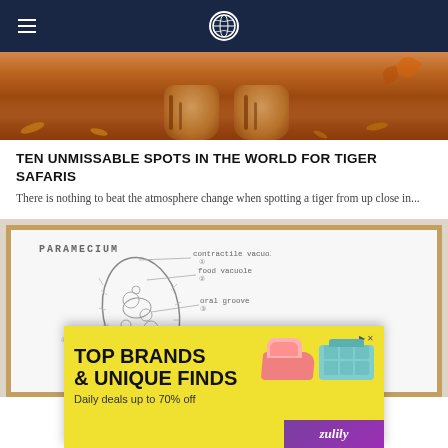Navigation bar with hamburger menu and site logo
[Figure (photo): Close-up photo of tiger paws/legs on reddish-brown ground with leaves]
TEN UNMISSABLE SPOTS IN THE WORLD FOR TIGER SAFARIS
There is nothing to beat the atmosphere change when spotting a tiger from up close in...
[Figure (photo): Students drawing a labeled diagram of a Paramecium on a whiteboard. Labels visible include: PARAMECIUM, contractile vacuole, food vacuole, oral groove, nucleus, anal pore, oral pore]
[Figure (other): Advertisement banner for Zulily - TOP BRANDS & UNIQUE FINDS, Daily deals up to 70% off, showing shoes and purse products on yellow background]